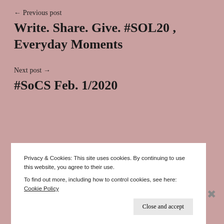← Previous post
Write. Share. Give. #SOL20 , Everyday Moments
Next post →
#SoCS Feb. 1/2020
Privacy & Cookies: This site uses cookies. By continuing to use this website, you agree to their use.
To find out more, including how to control cookies, see here: Cookie Policy
Close and accept